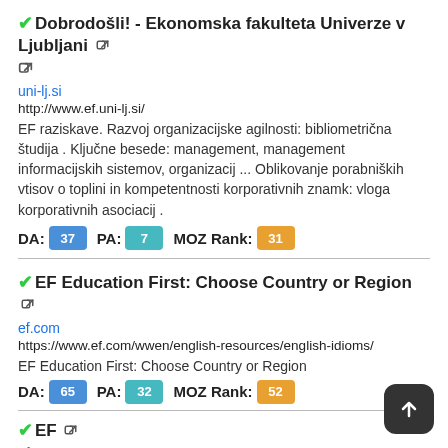✔Dobrodošli! - Ekonomska fakulteta Univerze v Ljubljani 🔗
uni-lj.si
http://www.ef.uni-lj.si/
EF raziskave. Razvoj organizacijske agilnosti: bibliometrična študija . Ključne besede: management, management informacijskih sistemov, organizacij ... Oblikovanje porabniških vtisov o toplini in kompetentnosti korporativnih znamk: vloga korporativnih asociacij .
DA: 37 PA: 7 MOZ Rank: 31
✔EF Education First: Choose Country or Region 🔗
ef.com
https://www.ef.com/wwen/english-resources/english-idioms/
EF Education First: Choose Country or Region
DA: 65 PA: 32 MOZ Rank: 52
✔EF 🔗
ef.com